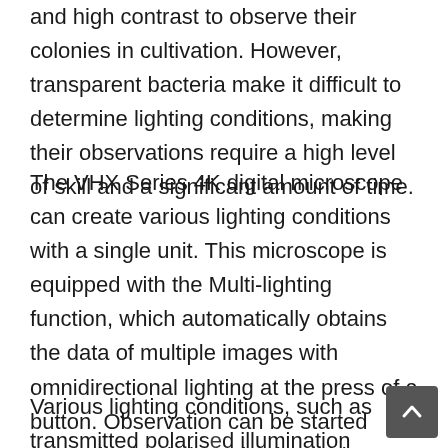and high contrast to observe their colonies in cultivation. However, transparent bacteria make it difficult to determine lighting conditions, making their observations require a high level of skill and a significant amount of time.
The VHX Series 4K digital microscope can create various lighting conditions with a single unit. This microscope is equipped with the Multi-lighting function, which automatically obtains the data of multiple images with omnidirectional lighting at the press of a button. Observation can be started promptly simply by selecting an image suitable for the purpose. This function not only simplifies difficult condition determination but also dramatically reduces the time required therein.
Various lighting conditions, such as transmitted polarised illumination and coaxial partial illumination, are available